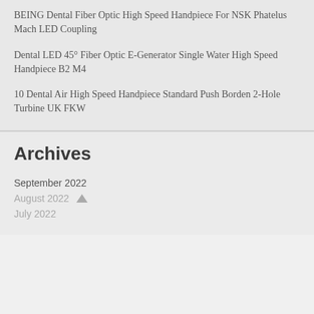BEING Dental Fiber Optic High Speed Handpiece For NSK Phatelus Mach LED Coupling
Dental LED 45° Fiber Optic E-Generator Single Water High Speed Handpiece B2 M4
10 Dental Air High Speed Handpiece Standard Push Borden 2-Hole Turbine UK FKW
Archives
September 2022
August 2022
July 2022